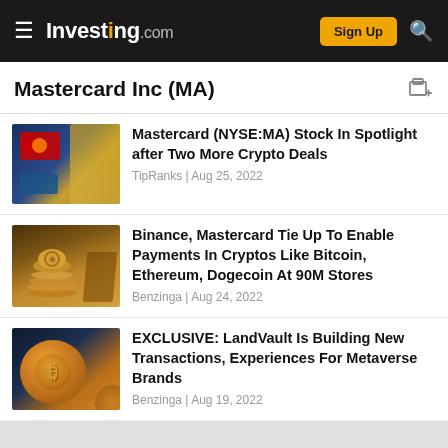Investing.com — Sign Up
Mastercard Inc (MA)
Mastercard (NYSE:MA) Stock In Spotlight after Two More Crypto Deals
TipRanks | Aug 25, 2022
Binance, Mastercard Tie Up To Enable Payments In Cryptos Like Bitcoin, Ethereum, Dogecoin At 90M Stores
Benzinga | Aug 24, 2022
EXCLUSIVE: LandVault Is Building New Transactions, Experiences For Metaverse Brands
Benzinga | Aug 19, 2022